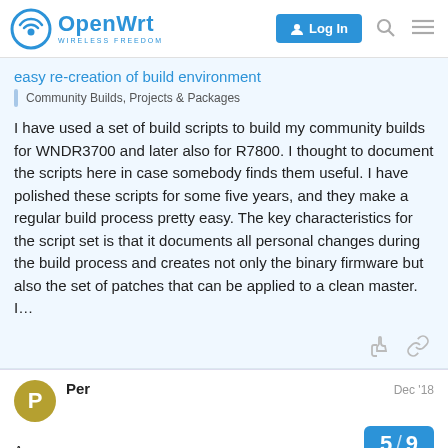OpenWrt – Wireless Freedom | Log In
easy re-creation of build environment
Community Builds, Projects & Packages
I have used a set of build scripts to build my community builds for WNDR3700 and later also for R7800. I thought to document the scripts here in case somebody finds them useful. I have polished these scripts for some five years, and they make a regular build process pretty easy. The key characteristics for the script set is that it documents all personal changes during the build process and creates not only the binary firmware but also the set of patches that can be applied to a clean master. I…
Per
Dec '18
5 / 9
A…